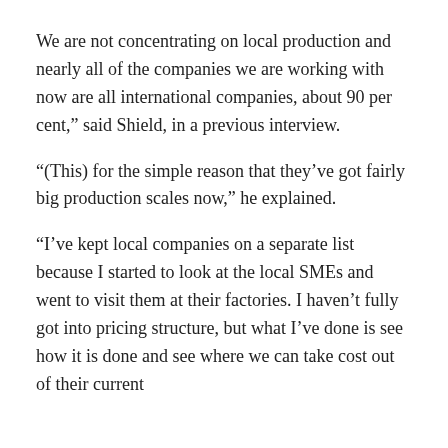We are not concentrating on local production and nearly all of the companies we are working with now are all international companies, about 90 per cent," said Shield, in a previous interview.
“(This) for the simple reason that they’ve got fairly big production scales now,” he explained.
“I’ve kept local companies on a separate list because I started to look at the local SMEs and went to visit them at their factories. I haven’t fully got into pricing structure, but what I’ve done is see how it is done and see where we can take cost out of their current